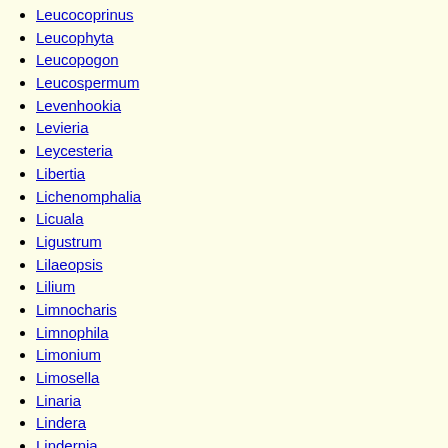Leucocoprinus
Leucophyta
Leucopogon
Leucospermum
Levenhookia
Levieria
Leycesteria
Libertia
Lichenomphalia
Licuala
Ligustrum
Lilaeopsis
Lilium
Limnocharis
Limnophila
Limonium
Limosella
Linaria
Lindera
Lindernia
Lindsaea
Lindsayomyrtus
Linguella
Linospadix
Linum
Liparis
Liparophyllum
Lipocarpha
Lissanthe
Lithomyrtus